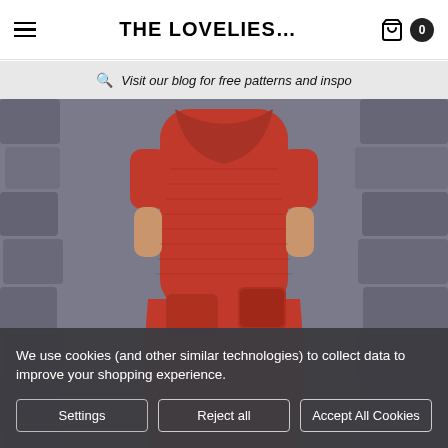THE LOVELIES...
Visit our blog for free patterns and inspo
[Figure (photo): A Barbie doll wearing a red crocheted dress with pockets and a matching red bag, photographed against a dark stone/tile background.]
We use cookies (and other similar technologies) to collect data to improve your shopping experience.
Settings | Reject all | Accept All Cookies